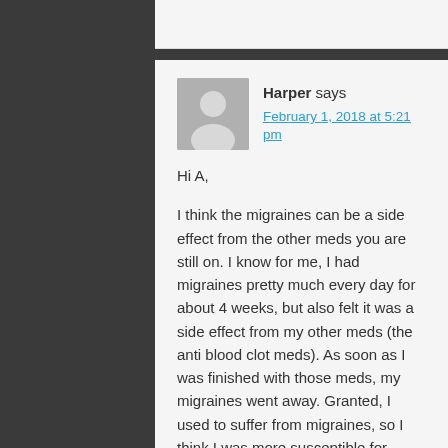Harper says
February 1, 2018 at 5:21 pm
Hi A,

I think the migraines can be a side effect from the other meds you are still on. I know for me, I had migraines pretty much every day for about 4 weeks, but also felt it was a side effect from my other meds (the anti blood clot meds). As soon as I was finished with those meds, my migraines went away. Granted, I used to suffer from migraines, so I think I was more susceptible for getting them. Just for history of what I had done: I am 14 weeks post op from my hip scope surgery...